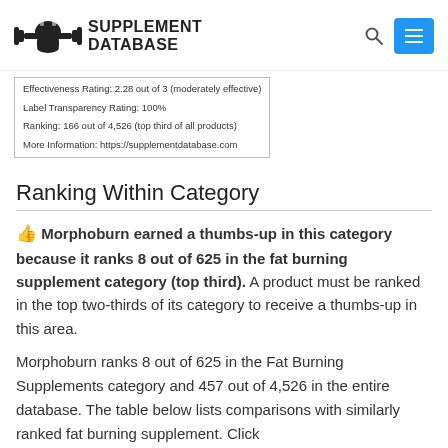SUPPLEMENT DATABASE
| Effectiveness Rating: 2.28 out of 3 (moderately effective) |
| Label Transparency Rating: 100% |
| Ranking: 166 out of 4,526 (top third of all products) |
| More Information: https://supplementdatabase.com |
Ranking Within Category
👍 Morphoburn earned a thumbs-up in this category because it ranks 8 out of 625 in the fat burning supplement category (top third). A product must be ranked in the top two-thirds of its category to receive a thumbs-up in this area.
Morphoburn ranks 8 out of 625 in the Fat Burning Supplements category and 457 out of 4,526 in the entire database. The table below lists comparisons with similarly ranked fat burning supplement. Click